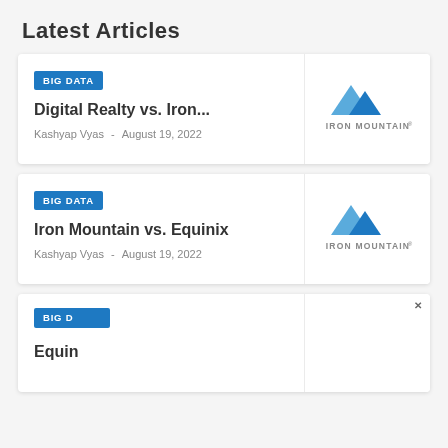Latest Articles
BIG DATA
Digital Realty vs. Iron...
Kashyap Vyas  -  August 19, 2022
[Figure (logo): Iron Mountain logo: two blue mountain triangles above the text IRON MOUNTAIN with a registered trademark symbol]
BIG DATA
Iron Mountain vs. Equinix
Kashyap Vyas  -  August 19, 2022
[Figure (logo): Iron Mountain logo: two blue mountain triangles above the text IRON MOUNTAIN with a registered trademark symbol]
BIG D
Equin